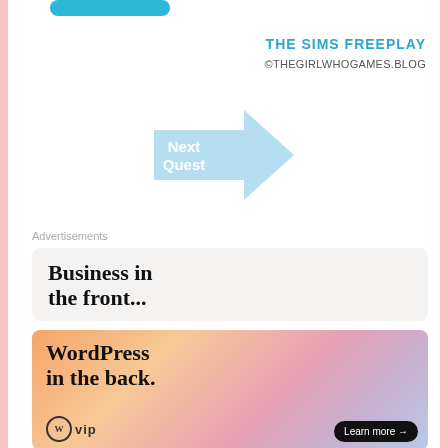[Figure (other): Cyan/blue rounded button at top left (cropped)]
THE SIMS FREEPLAY
©THEGIRLWHOGAMES.BLOG
[Figure (other): Light blue right-pointing arrow with 'Next Quest' text inside]
Advertisements
Business in the front...
[Figure (other): WordPress VIP advertisement with gradient background (orange, pink, purple). Text: 'WordPress in the back.' with WordPress VIP logo and 'Learn more →' button.]